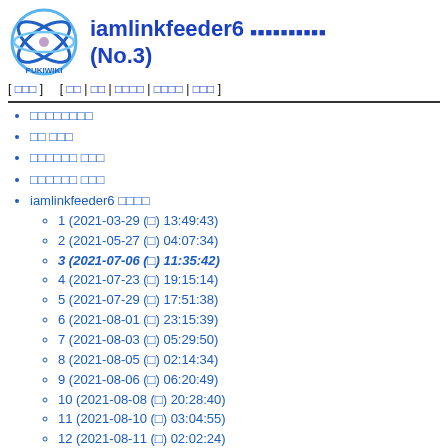[Figure (logo): PukiWiki logo — atom/orbits graphic in blue with pink center dot, text PUKIWIKI below]
iamlinkfeeder6 ■■■■■■■■■■ (No.3)
[ □□□ ]   [ □□ | □□ | □□□□ | □□□□ | □□□ ]
□□□□□□□□
□□ □□□
□□□□□□ □□□
□□□□□□ □□□
iamlinkfeeder6 □□□□
1 (2021-03-29 (□) 13:49:43)
2 (2021-05-27 (□) 04:07:34)
3 (2021-07-06 (□) 11:35:42)
4 (2021-07-23 (□) 19:15:14)
5 (2021-07-29 (□) 17:51:38)
6 (2021-08-01 (□) 23:15:39)
7 (2021-08-03 (□) 05:29:50)
8 (2021-08-05 (□) 02:14:34)
9 (2021-08-06 (□) 06:20:49)
10 (2021-08-08 (□) 20:28:40)
11 (2021-08-10 (□) 03:04:55)
12 (2021-08-11 (□) 02:02:24)